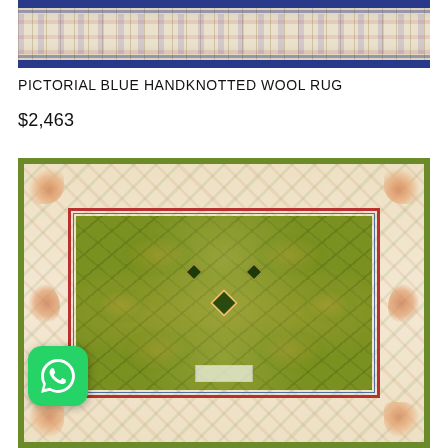[Figure (photo): Top portion of a blue handknotted wool rug with intricate geometric and floral patterns, navy blue border, cream/beige background with ornate motifs]
PICTORIAL BLUE HANDKNOTTED WOOL RUG
$2,463
[Figure (photo): Olive/moss green handknotted wool rug with ornate floral and arabesque patterns, cream floral border with red inner stripe, dense all-over design in the center field. WhatsApp icon button visible in lower left corner.]